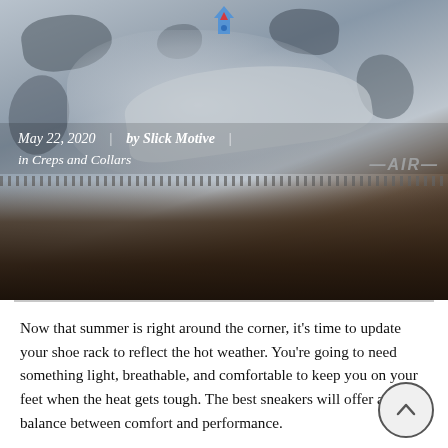[Figure (photo): Close-up photo of a Nike Air Force 1 sneaker in grey camouflage pattern, on a dark ground surface. Overlaid with publication date and author metadata.]
May 22, 2020  |  by Slick Motive  |
in Creps and Collars
Now that summer is right around the corner, it’s time to update your shoe rack to reflect the hot weather. You’re going to need something light, breathable, and comfortable to keep you on your feet when the heat gets tough. The best sneakers will offer a good balance between comfort and performance.